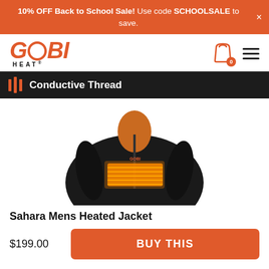10% OFF Back to School Sale! Use code SCHOOLSALE to save.
[Figure (logo): Gobi Heat logo with orange stylized text and the word HEAT below]
Conductive Thread
[Figure (photo): Black Gobi Heat Sahara Mens Heated Jacket displayed on a mannequin showing glowing orange heated panels on the chest and torso area]
Sahara Mens Heated Jacket
$199.00
BUY THIS